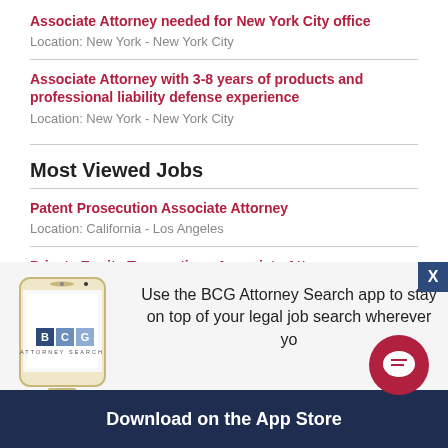Associate Attorney needed for New York City office
Location: New York - New York City
Associate Attorney with 3-8 years of products and professional liability defense experience
Location: New York - New York City
Most Viewed Jobs
Patent Prosecution Associate Attorney
Location: California - Los Angeles
Private Equity Transactions Associate Attorney
[Figure (infographic): BCG Attorney Search mobile app advertisement banner with phone image, BCG logo, text about the app, download button, and chat icon. Text reads: Use the BCG Attorney Search app to stay on top of your legal job search wherever yo[u go]. Download on the App Store.]